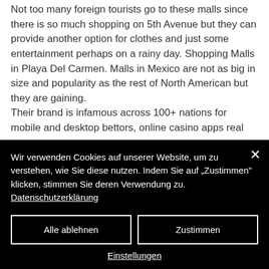Not too many foreign tourists go to these malls since there is so much shopping on 5th Avenue but they can provide another option for clothes and just some entertainment perhaps on a rainy day. Shopping Malls in Playa Del Carmen. Malls in Mexico are not as big in size and popularity as the rest of North American but they are gaining. Their brand is infamous across 100+ nations for mobile and desktop bettors, online casino apps real money. There are a wide range of mobile casino games, which you can play online, including
Wir verwenden Cookies auf unserer Website, um zu verstehen, wie Sie diese nutzen. Indem Sie auf „Zustimmen" klicken, stimmen Sie deren Verwendung zu. Datenschutzerklärung
Alle ablehnen
Zustimmen
Einstellungen